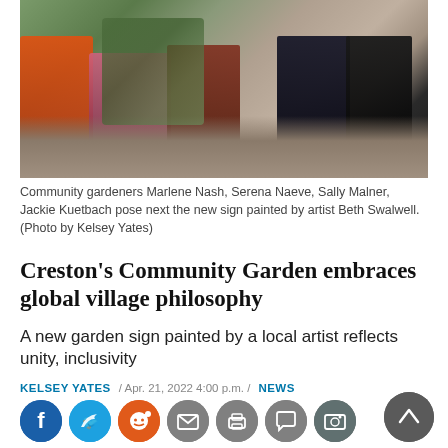[Figure (photo): Community gardeners Marlene Nash, Serena Naeve, Sally Malner, Jackie Kuetbach pose next to a new garden sign in a community garden setting.]
Community gardeners Marlene Nash, Serena Naeve, Sally Malner, Jackie Kuetbach pose next the new sign painted by artist Beth Swalwell. (Photo by Kelsey Yates)
Creston's Community Garden embraces global village philosophy
A new garden sign painted by a local artist reflects unity, inclusivity
KELSEY YATES  /  Apr. 21, 2022 4:00 p.m.  /  NEWS